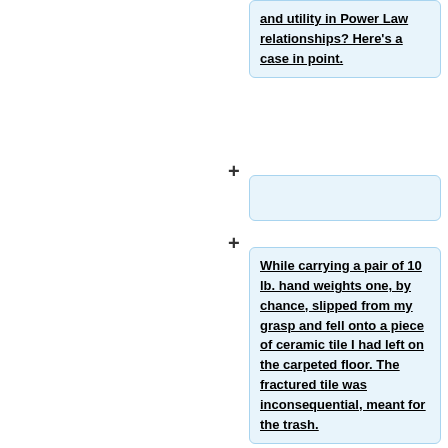and utility in Power Law relationships? Here's a case in point.
While carrying a pair of 10 lb. hand weights one, by chance, slipped from my grasp and fell onto a piece of ceramic tile I had left on the carpeted floor. The fractured tile was inconsequential, meant for the trash.
<center>[[File:BrokenTile.jpg | 400px]]</center>
As I stared, slightly annoyed, at the mess, a favorite maxim of the Greek philosopher,